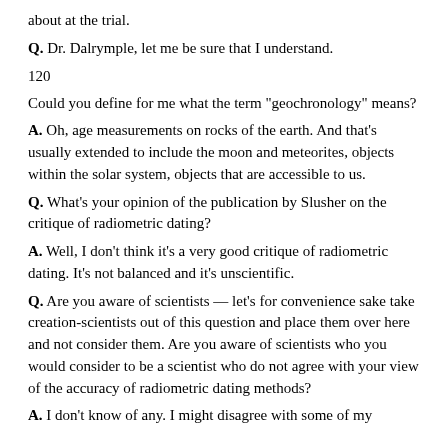about at the trial.
Q. Dr. Dalrymple, let me be sure that I understand.
120
Could you define for me what the term "geochronology" means?
A. Oh, age measurements on rocks of the earth. And that's usually extended to include the moon and meteorites, objects within the solar system, objects that are accessible to us.
Q. What's your opinion of the publication by Slusher on the critique of radiometric dating?
A. Well, I don't think it's a very good critique of radiometric dating. It's not balanced and it's unscientific.
Q. Are you aware of scientists — let's for convenience sake take creation-scientists out of this question and place them over here and not consider them. Are you aware of scientists who you would consider to be a scientist who do not agree with your view of the accuracy of radiometric dating methods?
A. I don't know of any. I might disagree with some of my